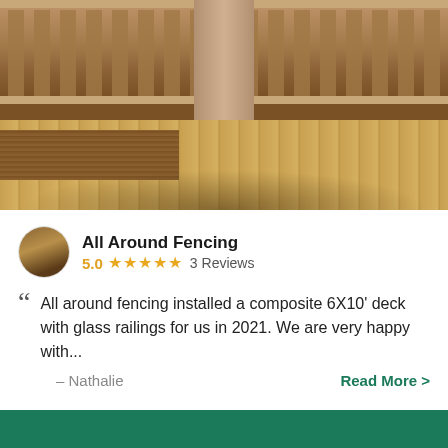[Figure (photo): Photo of a wooden deck with railings, showing composite decking material and spindle railings with a post in the center, shot in warm sunlight.]
All Around Fencing
5.0 ★★★★★ 3 Reviews
All around fencing installed a composite 6X10' deck with glass railings for us in 2021. We are very happy with...
– Nathalie    Read More >
Ottawa, Quebec K0A 2P0, Canada